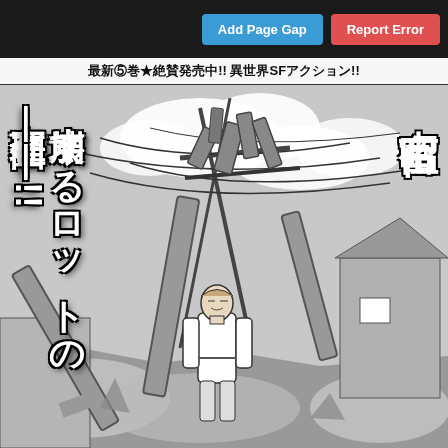Add Page Gap | Report Error
最新⑤巻★絶賛発売中!! 異世界SFアクション!!
[Figure (illustration): Manga illustration showing a person in white standing amid destruction with tangled mechanical arms and cables overhead, power poles collapsing, buildings in background, black and white manga art style]
崩壊するロットの存在理由——!!
吉富昭仁